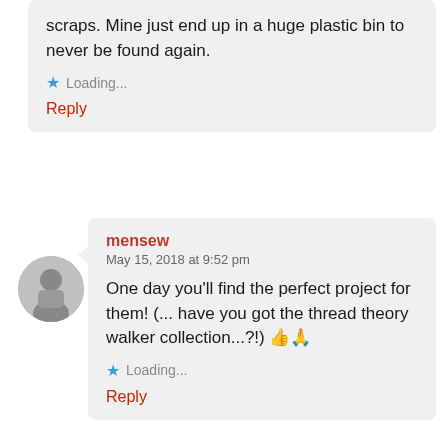scraps. Mine just end up in a huge plastic bin to never be found again.
Loading...
Reply
mensew
May 15, 2018 at 9:52 pm
One day you'll find the perfect project for them! (... have you got the thread theory walker collection...?!) 👍🙏
Loading...
Reply